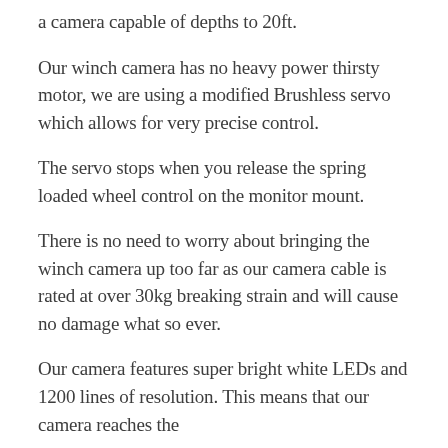a camera capable of depths to 20ft.
Our winch camera has no heavy power thirsty motor, we are using a modified Brushless servo which allows for very precise control.
The servo stops when you release the spring loaded wheel control on the monitor mount.
There is no need to worry about bringing the winch camera up too far as our camera cable is rated at over 30kg breaking strain and will cause no damage what so ever.
Our camera features super bright white LEDs and 1200 lines of resolution. This means that our camera reaches the